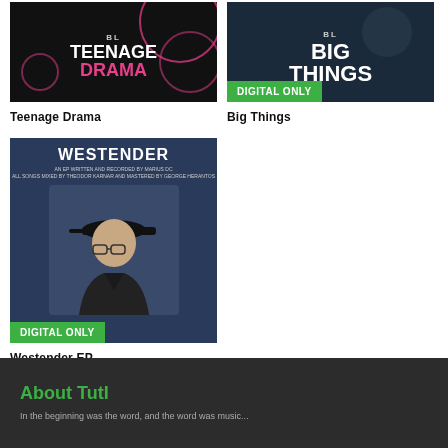[Figure (photo): Album cover for Teenage Drama with 'DIGITAL ONLY' badge]
[Figure (photo): Album cover for Big Things with 'DIGITAL ONLY' badge]
Teenage Drama
Big Things
[Figure (photo): Album cover for Westender EP showing person with glasses and cap, 'DIGITAL ONLY' badge]
Westender EP
About TutI